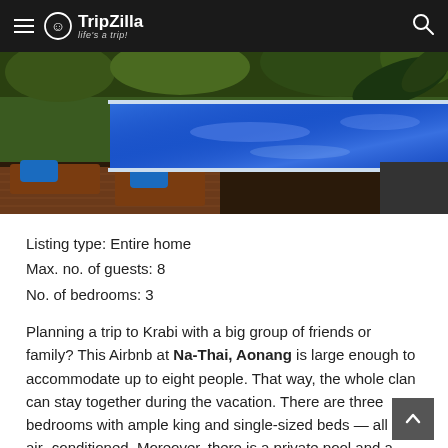TripZilla — life's a trip!
[Figure (photo): Outdoor private swimming pool with blue water, wooden sun loungers with blue towels, surrounded by tropical garden plants and palm trees.]
Listing type: Entire home
Max. no. of guests: 8
No. of bedrooms: 3
Planning a trip to Krabi with a big group of friends or family? This Airbnb at Na-Thai, Aonang is large enough to accommodate up to eight people. That way, the whole clan can stay together during the vacation. There are three bedrooms with ample king and single-sized beds — all fully air-conditioned. Moreover, there is a private pool and a lounge area situated in the basement where everyone can come